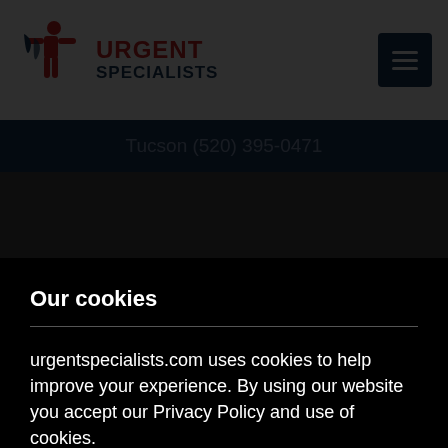[Figure (logo): Urgent Specialists logo with red/dark icon and text]
Tucson (520) 395-0471
Our cookies
urgentspecialists.com uses cookies to help improve your experience. By using our website you accept our Privacy Policy and use of cookies.
Privacy Policy
Accept